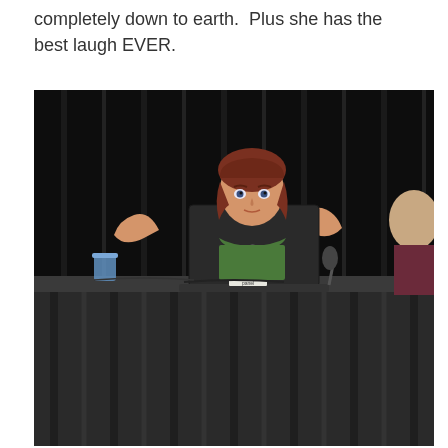completely down to earth.  Plus she has the best laugh EVER.
[Figure (photo): A woman with red hair sits behind a table at what appears to be a convention or panel, partially obscured by a dark HP laptop. She has her hands raised on either side of the laptop screen with fingers spread. A blue cup and microphone are visible on the table. Another person in a dark red/maroon top is partially visible on the right. The backdrop is black curtain fabric. The table has a dark draped skirt.]